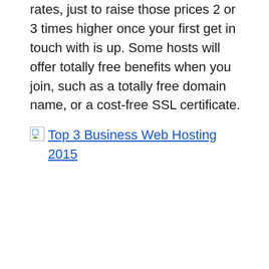rates, just to raise those prices 2 or 3 times higher once your first get in touch with is up. Some hosts will offer totally free benefits when you join, such as a totally free domain name, or a cost-free SSL certificate.
[Figure (other): Broken image placeholder with link text 'Top 3 Business Web Hosting 2015']
While some hosts will have the ability to offer much better efficiency and also high levels of safety.
Below we dive deep into the very best economical webhosting plan there. You'll discover what core organizing functions are